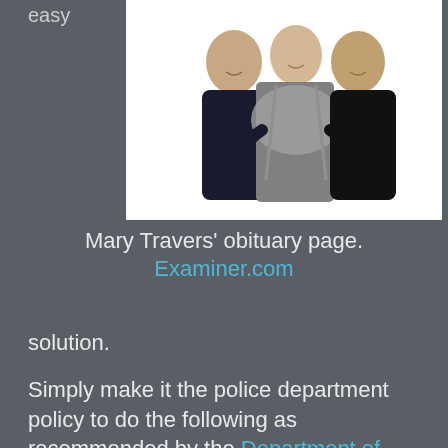easy
[Figure (photo): Three people posing together: two men and a woman in the center, smiling. The woman wears a gray scarf/wrap. White background photo.]
Mary Travers' obituary page. Examiner.com
solution.
Simply make it the police department policy to do the following as recommended by the Department of Justice.